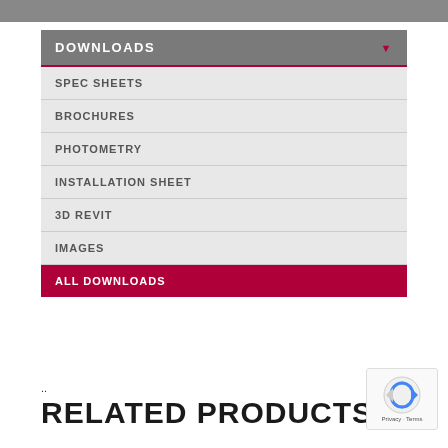DOWNLOADS
SPEC SHEETS
BROCHURES
PHOTOMETRY
INSTALLATION SHEET
3D REVIT
IMAGES
ALL DOWNLOADS
RELATED PRODUCTS